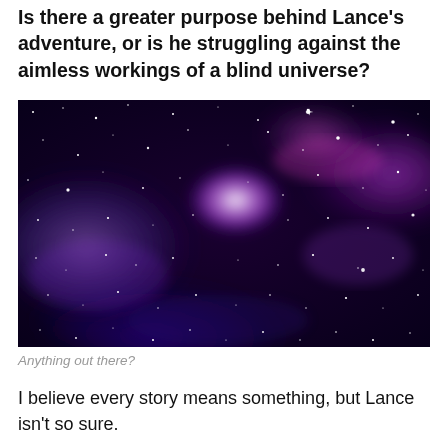Is there a greater purpose behind Lance's adventure, or is he struggling against the aimless workings of a blind universe?
[Figure (photo): A vivid nebula/galaxy image showing swirling purple, violet, and deep blue cosmic clouds with bright white star clusters and scattered stars against a dark space background.]
Anything out there?
I believe every story means something, but Lance isn't so sure.